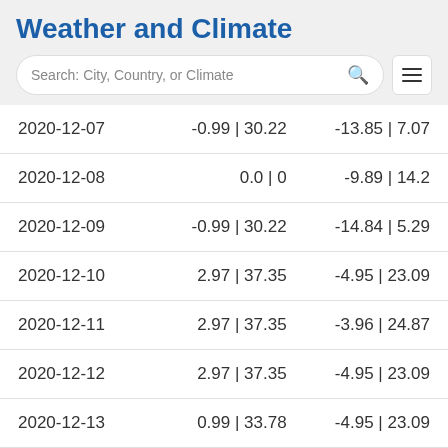Weather and Climate
| Date | Col2 | Col3 |
| --- | --- | --- |
| 2020-12-07 | -0.99 | 30.22 | -13.85 | 7.07 |
| 2020-12-08 | 0.0 | 0 | -9.89 | 14.2 |
| 2020-12-09 | -0.99 | 30.22 | -14.84 | 5.29 |
| 2020-12-10 | 2.97 | 37.35 | -4.95 | 23.09 |
| 2020-12-11 | 2.97 | 37.35 | -3.96 | 24.87 |
| 2020-12-12 | 2.97 | 37.35 | -4.95 | 23.09 |
| 2020-12-13 | 0.99 | 33.78 | -4.95 | 23.09 |